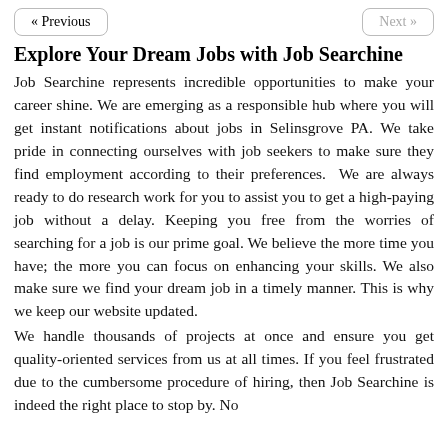« Previous    Next »
Explore Your Dream Jobs with Job Searchine
Job Searchine represents incredible opportunities to make your career shine. We are emerging as a responsible hub where you will get instant notifications about jobs in Selinsgrove PA. We take pride in connecting ourselves with job seekers to make sure they find employment according to their preferences.  We are always ready to do research work for you to assist you to get a high-paying job without a delay. Keeping you free from the worries of searching for a job is our prime goal. We believe the more time you have; the more you can focus on enhancing your skills. We also make sure we find your dream job in a timely manner. This is why we keep our website updated.
We handle thousands of projects at once and ensure you get quality-oriented services from us at all times. If you feel frustrated due to the cumbersome procedure of hiring, then Job Searchine is indeed the right place to stop by. No